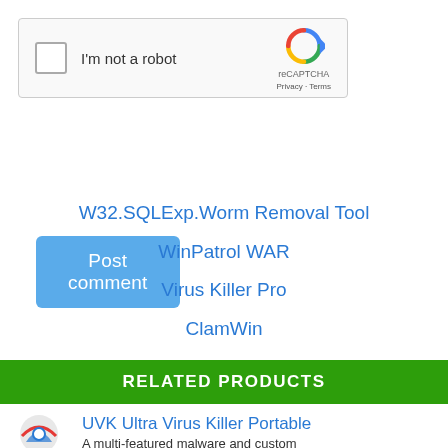[Figure (screenshot): reCAPTCHA widget with checkbox labeled 'I'm not a robot' and reCAPTCHA logo with Privacy and Terms links]
Post comment
W32.SQLExp.Worm Removal Tool
WinPatrol WAR
Virus Killer Pro
ClamWin
Titanium Maximum Security
RELATED PRODUCTS
UVK Ultra Virus Killer Portable
A multi-featured malware and custom